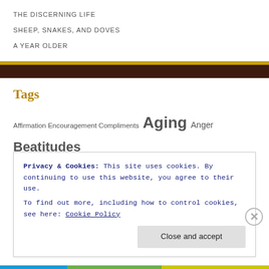THE DISCERNING LIFE
SHEEP, SNAKES, AND DOVES
A YEAR OLDER
Tags
Affirmation Encouragement Compliments Aging Anger Beatitudes Being Blessed Bible Blessed Blessed by God Boasting Book of Revelation Books Christmas Christmas Bible verses Church
Privacy & Cookies: This site uses cookies. By continuing to use this website, you agree to their use.
To find out more, including how to control cookies, see here: Cookie Policy
Close and accept